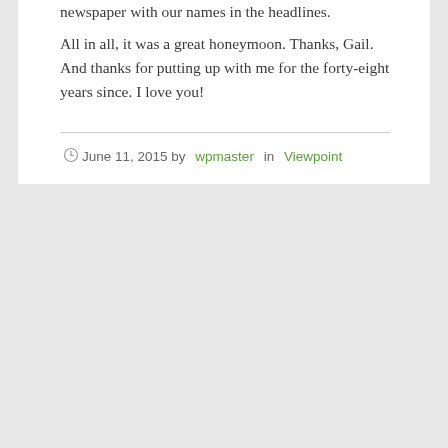newspaper with our names in the headlines. All in all, it was a great honeymoon. Thanks, Gail. And thanks for putting up with me for the forty-eight years since. I love you!
June 11, 2015 by wpmaster in Viewpoint